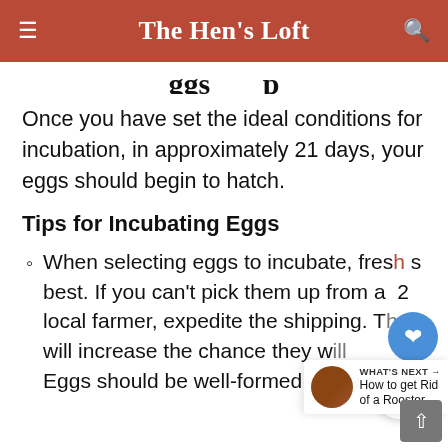The Hen's Loft
...eggs...p...
Once you have set the ideal conditions for incubation, in approximately 21 days, your eggs should begin to hatch.
Tips for Incubating Eggs
When selecting eggs to incubate, fresh is best. If you can't pick them up from a local farmer, expedite the shipping. This will increase the chance they will... Eggs should be well-formed, large and...